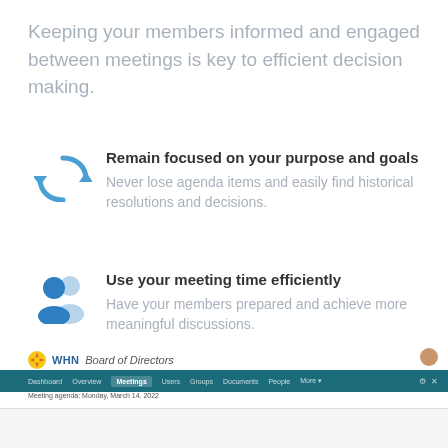Keeping your members informed and engaged between meetings is key to efficient decision making.
Remain focused on your purpose and goals
Never lose agenda items and easily find historical resolutions and decisions.
Use your meeting time efficiently
Have your members prepared and achieve more meaningful discussions.
[Figure (screenshot): Screenshot of WHN Board of Directors meeting management web application showing navigation bar and meeting agenda interface]